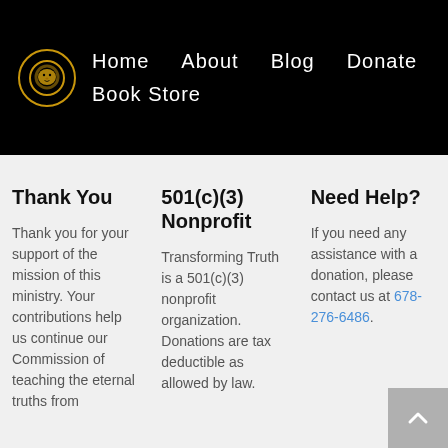Home  About  Blog  Donate  Book Store
Thank You
Thank you for your support of the mission of this ministry. Your contributions help us continue our Commission of teaching the eternal truths from
501(c)(3) Nonprofit
Transforming Truth is a 501(c)(3) nonprofit organization. Donations are tax deductible as allowed by law.
Need Help?
If you need any assistance with a donation, please contact us at 678-276-6486.